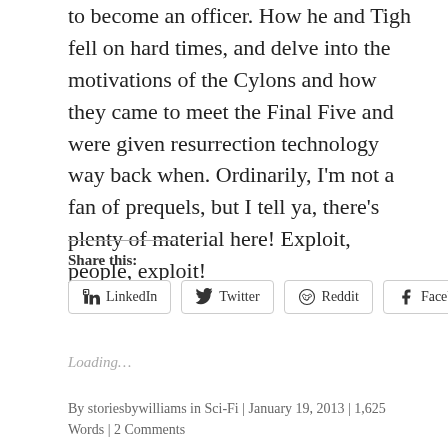to become an officer. How he and Tigh fell on hard times, and delve into the motivations of the Cylons and how they came to meet the Final Five and were given resurrection technology way back when. Ordinarily, I'm not a fan of prequels, but I tell ya, there's plenty of material here! Exploit, people, exploit!
Share this:
LinkedIn  Twitter  Reddit  Facebook
Loading...
By storiesbywilliams in Sci-Fi | January 19, 2013 | 1,625 Words | 2 Comments